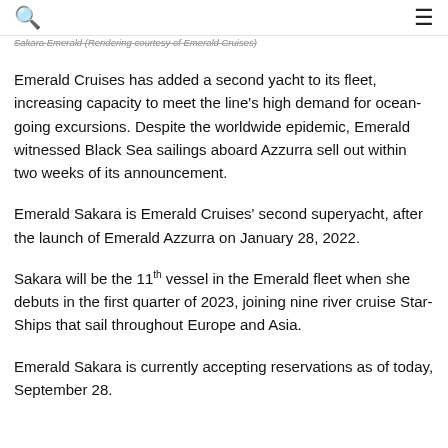🔍 ☰
Sakara Emerald (Rendering courtesy of Emerald Cruises)
Emerald Cruises has added a second yacht to its fleet, increasing capacity to meet the line's high demand for ocean-going excursions. Despite the worldwide epidemic, Emerald witnessed Black Sea sailings aboard Azzurra sell out within two weeks of its announcement.
Emerald Sakara is Emerald Cruises' second superyacht, after the launch of Emerald Azzurra on January 28, 2022.
Sakara will be the 11th vessel in the Emerald fleet when she debuts in the first quarter of 2023, joining nine river cruise Star-Ships that sail throughout Europe and Asia.
Emerald Sakara is currently accepting reservations as of today, September 28.